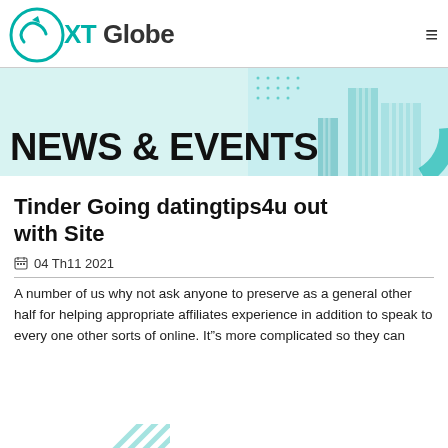[Figure (logo): XT Globe logo with teal circle graphic and bold text]
[Figure (illustration): NEWS & EVENTS banner with teal background and city building photograph on right]
Tinder Going datingtips4u out with Site
04 Th11 2021
A number of us why not ask anyone to preserve as a general other half for helping appropriate affiliates experience in addition to speak to every one other sorts of online. It”s more complicated so they can